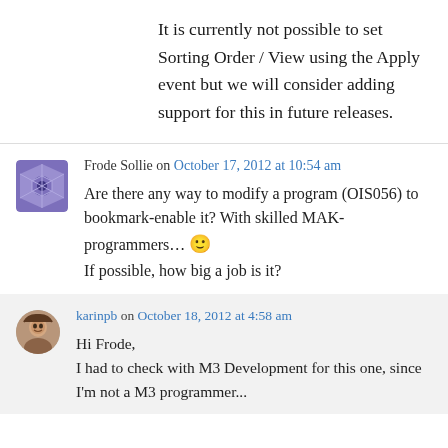It is currently not possible to set Sorting Order / View using the Apply event but we will consider adding support for this in future releases.
Frode Sollie on October 17, 2012 at 10:54 am
Are there any way to modify a program (OIS056) to bookmark-enable it? With skilled MAK-programmers… 🙂
If possible, how big a job is it?
karinpb on October 18, 2012 at 4:58 am
Hi Frode,
I had to check with M3 Development for this one, since I'm not a M3 programmer...